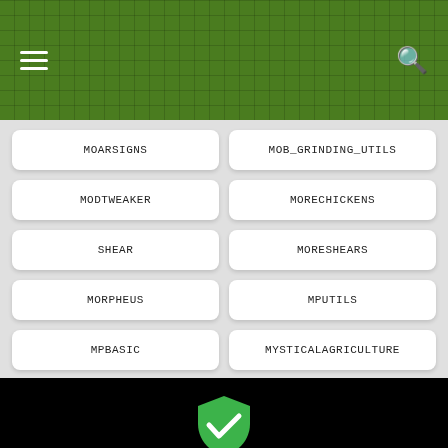Navigation header with hamburger menu and search icon
MOARSIGNS
MOB_GRINDING_UTILS
MODTWEAKER
MORECHICKENS
SHEAR
MORESHEARS
MORPHEUS
MPUTILS
MPBASIC
MYSTICALAGRICULTURE
NICE
NOTENOUGHWANDS
[Figure (illustration): Green shield with white checkmark icon]
This website uses cookies for a better presentation of statistics. By using our site, you agree for the use of the cookies, you can read more in the section Privacy.
✓ I AGREE